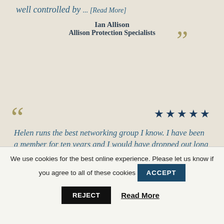well controlled by ... [Read More]
Ian Allison
Allison Protection Specialists
Helen runs the best networking group I know. I have been a member for ten years and I would have dropped out long ago if it wasn't wort ... [Read More]
Peter Savile
Aitchison Raffety
We use cookies for the best online experience. Please let us know if you agree to all of these cookies
ACCEPT
REJECT
Read More